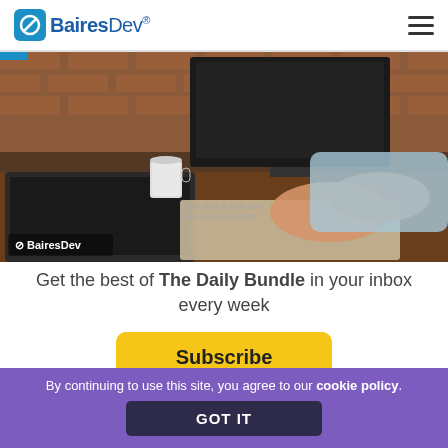BairesDev
[Figure (photo): Person typing on a laptop keyboard at a wooden desk with a desktop monitor in background, a coffee cup, and brick wall. BairesDev watermark logo in lower left corner.]
Get the best of The Daily Bundle in your inbox every week
Subscribe
By continuing to use this site, you agree to our cookie policy.
GOT IT